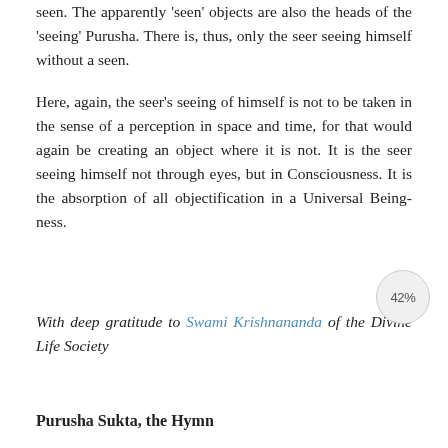seen. The apparently 'seen' objects are also the heads of the 'seeing' Purusha. There is, thus, only the seer seeing himself without a seen.
Here, again, the seer's seeing of himself is not to be taken in the sense of a perception in space and time, for that would again be creating an object where it is not. It is the seer seeing himself not through eyes, but in Consciousness. It is the absorption of all objectification in a Universal Being-ness.
With deep gratitude to Swami Krishnananda of the Divine Life Society
Purusha Sukta, the Hymn